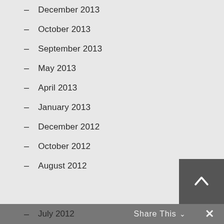- December 2013
- October 2013
- September 2013
- May 2013
- April 2013
- January 2013
- December 2012
- October 2012
- August 2012
- July 2012   Share This  ✕